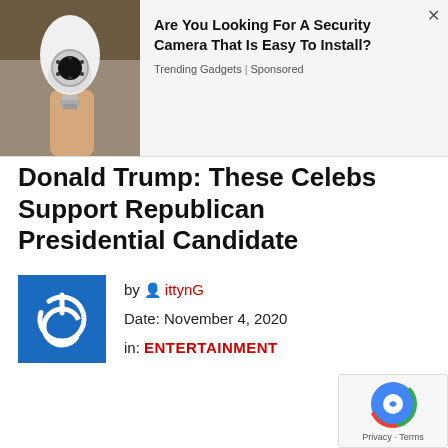[Figure (photo): Hand holding a white security camera shaped like a light bulb with a circular lens array]
Are You Looking For A Security Camera That Is Easy To Install?
Trending Gadgets | Sponsored
Donald Trump: These Celebs Support Republican Presidential Candidate
[Figure (logo): Blue square logo with white power button icon]
by ittynG
Date: November 4, 2020
in: ENTERTAINMENT
[Figure (other): Google reCAPTCHA badge with Privacy - Terms text]